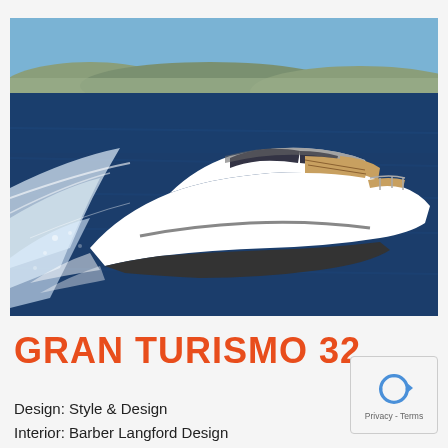[Figure (photo): A white luxury sport cruiser motorboat (Gran Turismo 32) speeding across deep blue ocean water with white wake spray, mountains and coastline visible in background under blue sky.]
GRAN TURISMO 32
[Figure (other): reCAPTCHA widget with circular arrow icon and Privacy - Terms link]
Design: Style & Design
Interior: Barber Langford Design